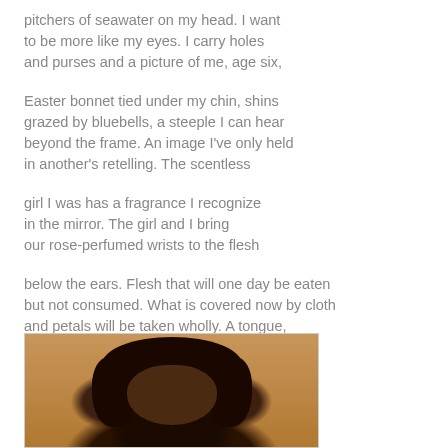pitchers of seawater on my head. I want to be more like my eyes. I carry holes and purses and a picture of me, age six,
Easter bonnet tied under my chin, shins grazed by bluebells, a steeple I can hear beyond the frame. An image I've only held in another's retelling. The scentless
girl I was has a fragrance I recognize in the mirror. The girl and I bring our rose-perfumed wrists to the flesh
below the ears. Flesh that will one day be eaten but not consumed. What is covered now by cloth and petals will be taken wholly. A tongue, feeling like many, will coax woman out of us.
[Figure (photo): Partial photo of a person with dark curly/loc'd hair, visible from shoulders up, against a warm tan/beige background. Only the top portion of the image is visible.]